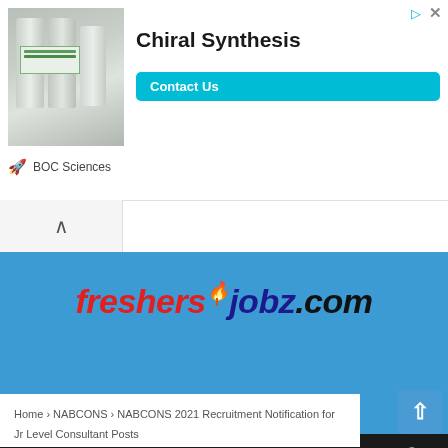[Figure (screenshot): Advertisement banner for BOC Sciences Chiral Synthesis with Contact Us button, image of chemical containers on left, and BOC Sciences branding at bottom]
[Figure (logo): freshersjobz.com website logo on blue background with flame/person icon above the letter j]
Home › NABCONS › NABCONS 2021 Recruitment Notification for Jr Level Consultant Posts